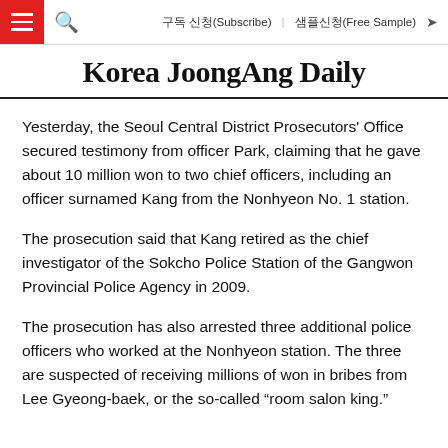구독 신청(Subscribe)   샘플신청(Free Sample)
Korea JoongAng Daily
Yesterday, the Seoul Central District Prosecutors' Office secured testimony from officer Park, claiming that he gave about 10 million won to two chief officers, including an officer surnamed Kang from the Nonhyeon No. 1 station.
The prosecution said that Kang retired as the chief investigator of the Sokcho Police Station of the Gangwon Provincial Police Agency in 2009.
The prosecution has also arrested three additional police officers who worked at the Nonhyeon station. The three are suspected of receiving millions of won in bribes from Lee Gyeong-baek, or the so-called “room salon king.”